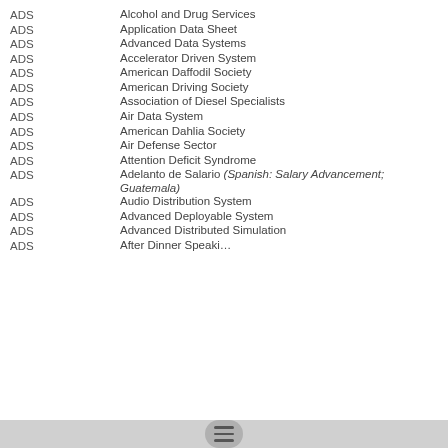ADS    Alcohol and Drug Services
ADS    Application Data Sheet
ADS    Advanced Data Systems
ADS    Accelerator Driven System
ADS    American Daffodil Society
ADS    American Driving Society
ADS    Association of Diesel Specialists
ADS    Air Data System
ADS    American Dahlia Society
ADS    Air Defense Sector
ADS    Attention Deficit Syndrome
ADS    Adelanto de Salario (Spanish: Salary Advancement; Guatemala)
ADS    Audio Distribution System
ADS    Advanced Deployable System
ADS    Advanced Distributed Simulation
ADS    After Dinner Speaking